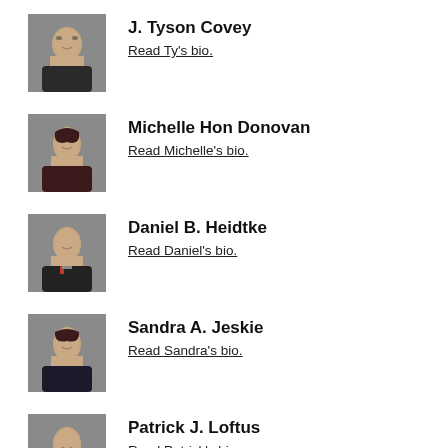[Figure (photo): Headshot of J. Tyson Covey, a man wearing glasses and a dark suit]
J. Tyson Covey
Read Ty's bio.
[Figure (photo): Headshot of Michelle Hon Donovan, a woman with dark hair]
Michelle Hon Donovan
Read Michelle's bio.
[Figure (photo): Headshot of Daniel B. Heidtke, a man in a dark suit]
Daniel B. Heidtke
Read Daniel's bio.
[Figure (photo): Headshot of Sandra A. Jeskie, a woman in a dark jacket]
Sandra A. Jeskie
Read Sandra's bio.
[Figure (photo): Headshot of Patrick J. Loftus, a man in a dark suit]
Patrick J. Loftus
Read Patrick's bio.